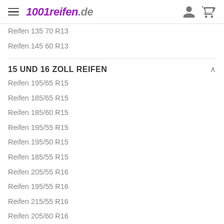1001reifen.de
Reifen 135 70 R13
Reifen 145 60 R13
15 UND 16 ZOLL REIFEN
Reifen 195/65 R15
Reifen 185/65 R15
Reifen 185/60 R15
Reifen 195/55 R15
Reifen 195/50 R15
Reifen 185/55 R15
Reifen 205/55 R16
Reifen 195/55 R16
Reifen 215/55 R16
Reifen 205/60 R16
Reifen 215/60 R16
Reifen 205 65 R15
Reifen 33 12.5 R15
Reifen 165 65 R15